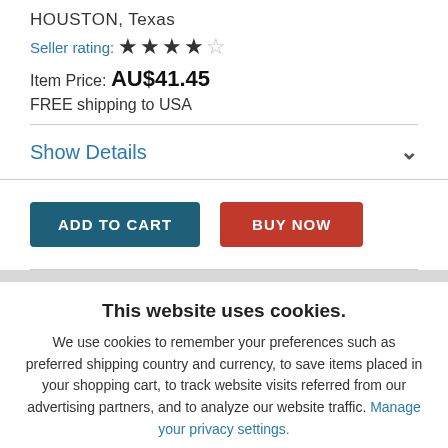HOUSTON, Texas
Seller rating: ★★★★☆
Item Price: AU$41.45
FREE shipping to USA
Show Details
ADD TO CART
BUY NOW
This website uses cookies.
We use cookies to remember your preferences such as preferred shipping country and currency, to save items placed in your shopping cart, to track website visits referred from our advertising partners, and to analyze our website traffic. Manage your privacy settings.
AGREE AND CLOSE